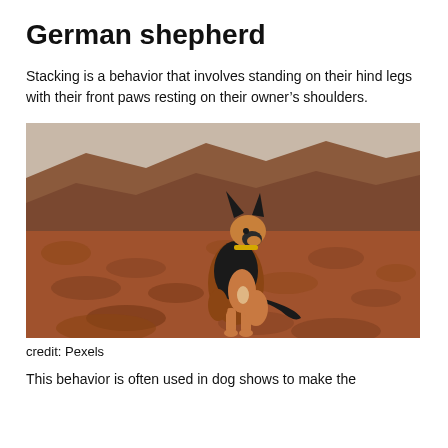German shepherd
Stacking is a behavior that involves standing on their hind legs with their front paws resting on their owner's shoulders.
[Figure (photo): A German shepherd dog sitting on rocky reddish-brown terrain with mountains or hills in the background. The dog is wearing a yellow collar and facing left, ears alert.]
credit: Pexels
This behavior is often used in dog shows to make the